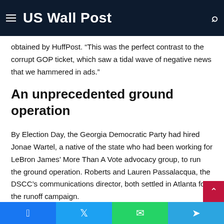US Wall Post
obtained by HuffPost. “This was the perfect contrast to the corrupt GOP ticket, which saw a tidal wave of negative news that we hammered in ads.”
An unprecedented ground operation
By Election Day, the Georgia Democratic Party had hired Jonae Wartel, a native of the state who had been working for LeBron James’ More Than A Vote advocacy group, to run the ground operation. Roberts and Lauren Passalacqua, the DSCC’s communications director, both settled in Atlanta for the runoff campaign.
Facebook | Twitter | WhatsApp | Telegram